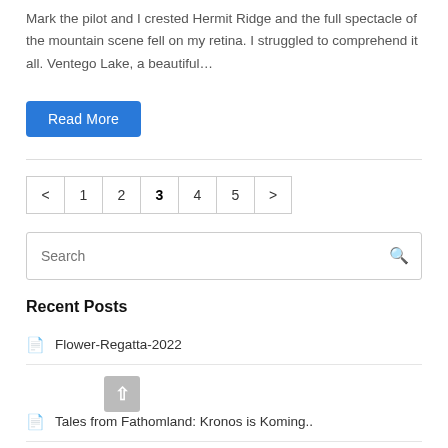Mark the pilot and I crested Hermit Ridge and the full spectacle of the mountain scene fell on my retina. I struggled to comprehend it all. Ventego Lake, a beautiful…
Read More
< 1 2 3 4 5 >
Search
Recent Posts
Flower-Regatta-2022
Tales from Fathomland: Kronos is Koming..